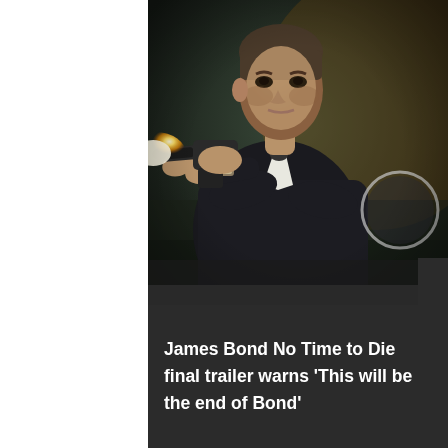[Figure (photo): A man in a dark suit aiming a gun toward the camera with a muzzle flash visible, set against a dramatic action scene background.]
James Bond No Time to Die final trailer warns 'This will be the end of Bond'